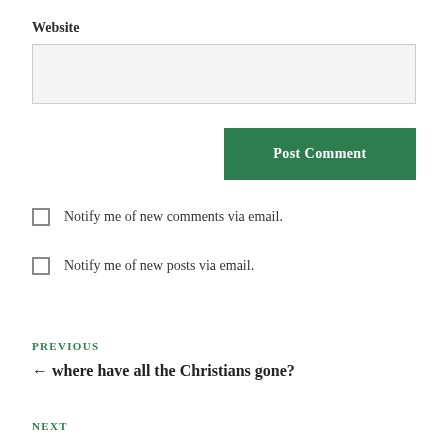Website
Post Comment
Notify me of new comments via email.
Notify me of new posts via email.
PREVIOUS
← where have all the Christians gone?
NEXT